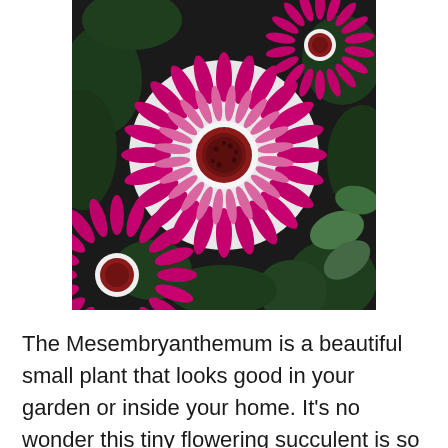[Figure (photo): Close-up photograph of vibrant magenta/pink Mesembryanthemum (ice plant) flowers with white centres and red stamens, surrounded by dark green foliage against a dark background. Two prominent flowers are visible, one fully open in the centre and one partially visible at the lower left.]
The Mesembryanthemum is a beautiful small plant that looks good in your garden or inside your home. It's no wonder this tiny flowering succulent is so beloved by gardeners all